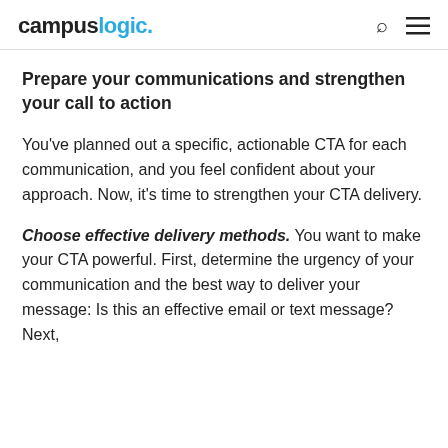campuslogic.
Prepare your communications and strengthen your call to action
You've planned out a specific, actionable CTA for each communication, and you feel confident about your approach. Now, it’s time to strengthen your CTA delivery.
Choose effective delivery methods. You want to make your CTA powerful. First, determine the urgency of your communication and the best way to deliver your message: Is this an effective email or text message? Next,